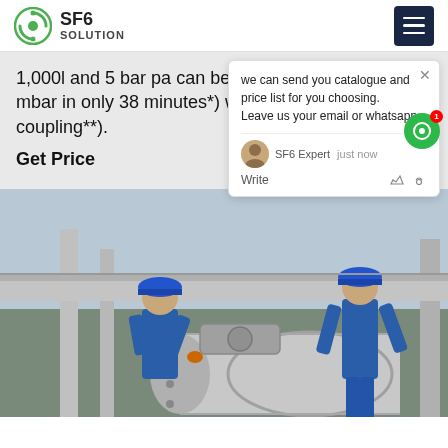SF6 SOLUTION
1,000l and 5 bar pa can be recovered down to 1 mbar in only 38 minutes*) when using the DN40 coupling**).
Get Price
[Figure (photo): Two workers in blue coveralls and hard hats working on large industrial SF6 gas equipment/pipeline coupling outdoors]